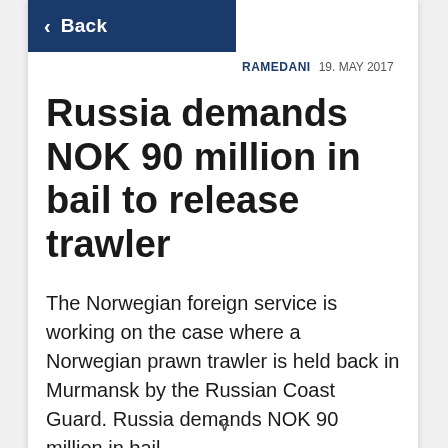Back
RAMEDANI   19. MAY 2017
Russia demands NOK 90 million in bail to release trawler
The Norwegian foreign service is working on the case where a Norwegian prawn trawler is held back in Murmansk by the Russian Coast Guard. Russia demands NOK 90 million in bail.